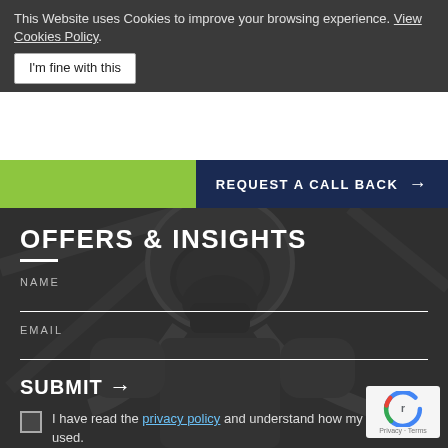This Website uses Cookies to improve your browsing experience. View Cookies Policy.
I'm fine with this
REQUEST A CALL BACK →
[Figure (photo): Grayscale photo of a firefighter wearing a helmet and breathing apparatus/gas mask, looking towards the camera]
OFFERS & INSIGHTS
NAME
EMAIL
SUBMIT →
I have read the privacy policy and understand how my data is used.